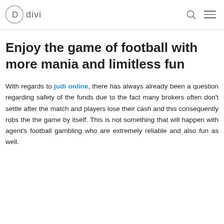divi
Enjoy the game of football with more mania and limitless fun
With regards to judi online, there has always already been a question regarding safety of the funds due to the fact many brokers often don't settle after the match and players lose their cash and this consequently robs the the game by itself. This is not something that will happen with agent's football gambling who are extremely reliable and also fun as well.